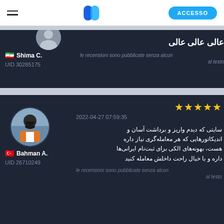ACCESSO
Shima C. — UID 30285175
عالی عالی عالی
le recensioni sono pubblicate senza alcun... al testo
Bahman A. — UID 26710249
★★★★★
2022-04-27 07:59:35
سایتی که دیدم واریز و برداشت آسان و اندیکاتورهایی که هر معامله‌گری نیاز داره هست، بهونه‌های الکی برای ثبت‌نام ایرانی‌ها داره و با خیال راحت داخلش معامله کنید
le recensioni sono pubblicate senza alcun... al testo